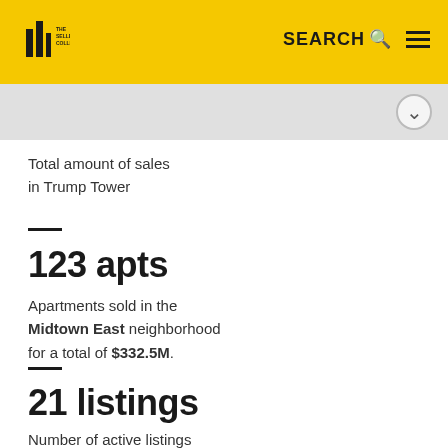The Seller's Collective — SEARCH
Total amount of sales in Trump Tower
123 apts
Apartments sold in the Midtown East neighborhood for a total of $332.5M.
21 listings
Number of active listings